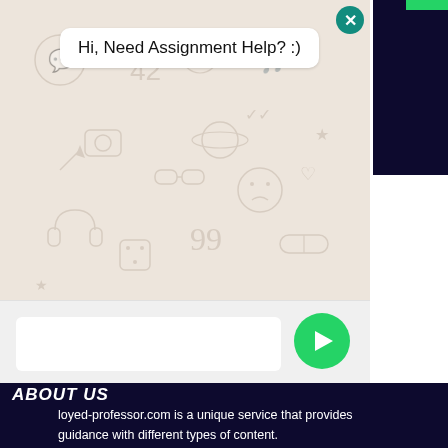[Figure (screenshot): WhatsApp chat widget popup showing message bubble 'Hi, Need Assignment Help? :)' with doodle background, text input box, and green send button]
ABOUT US
loyed-professor.com is a unique service that provides guidance with different types of content. Please rest assured that the service is absolutely legal